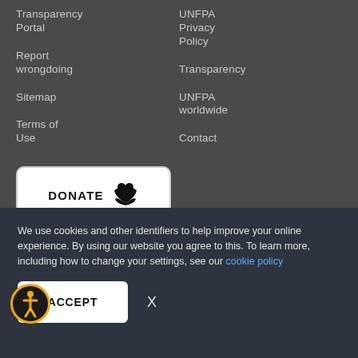Transparency Portal
UNFPA Privacy Policy
Report wrongdoing
Transparency
Sitemap
UNFPA worldwide
Terms of Use
Contact
[Figure (other): DONATE button with heart and hand icon]
We use cookies and other identifiers to help improve your online experience. By using our website you agree to this. To learn more, including how to change your settings, see our cookie policy
[Figure (other): ACCEPT button and X close button, with accessibility icon (person in circle with orange border)]